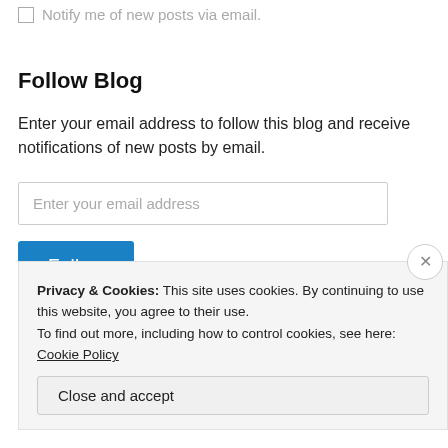Notify me of new posts via email.
Follow Blog
Enter your email address to follow this blog and receive notifications of new posts by email.
Enter your email address
Follow
Privacy & Cookies: This site uses cookies. By continuing to use this website, you agree to their use.
To find out more, including how to control cookies, see here: Cookie Policy
Close and accept